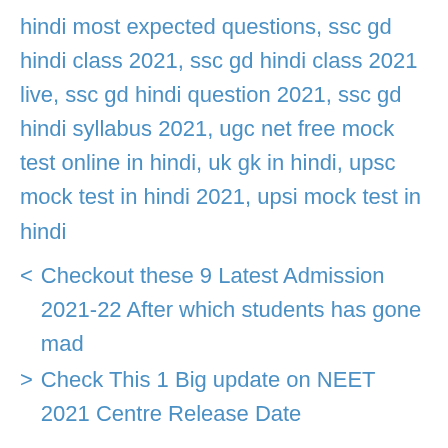hindi most expected questions, ssc gd hindi class 2021, ssc gd hindi class 2021 live, ssc gd hindi question 2021, ssc gd hindi syllabus 2021, ugc net free mock test online in hindi, uk gk in hindi, upsc mock test in hindi 2021, upsi mock test in hindi
< Checkout these 9 Latest Admission 2021-22 After which students has gone mad
> Check This 1 Big update on NEET 2021 Centre Release Date
Leave a Comment